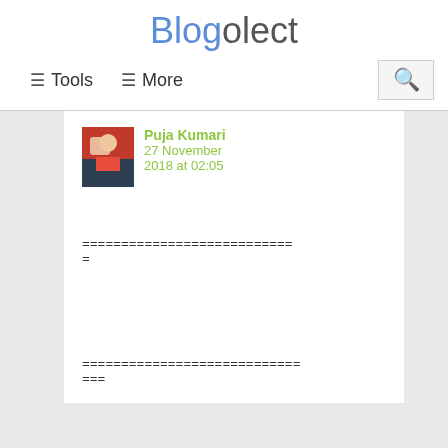Blogolect
≡ Tools  ≡ More
Puja Kumari  27 November 2018 at 02:05
===========================
=
============================
===